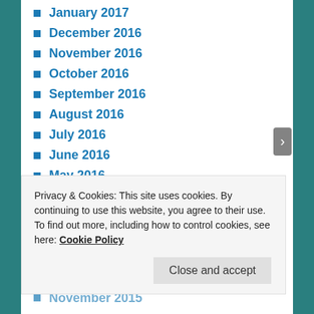January 2017
December 2016
November 2016
October 2016
September 2016
August 2016
July 2016
June 2016
May 2016
April 2016
March 2016
February 2016
January 2016
December 2015
November 2015
Privacy & Cookies: This site uses cookies. By continuing to use this website, you agree to their use.
To find out more, including how to control cookies, see here: Cookie Policy